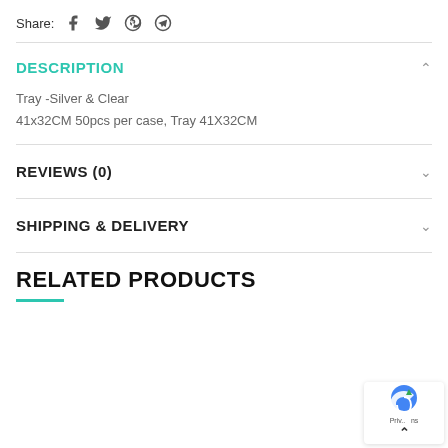Share:
DESCRIPTION
Tray -Silver & Clear
41x32CM 50pcs per case, Tray 41X32CM
REVIEWS (0)
SHIPPING & DELIVERY
RELATED PRODUCTS